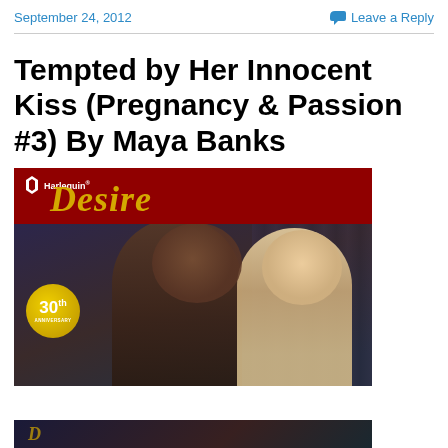September 24, 2012    Leave a Reply
Tempted by Her Innocent Kiss (Pregnancy & Passion #3) By Maya Banks
[Figure (photo): Harlequin Desire book cover with 30th Anniversary badge showing a couple (man and woman) in close embrace. Red banner at top with Harlequin Desire branding in gold italic script.]
Privacy & Cookies: This site uses cookies. By continuing to use this website, you agree to their use.
To find out more, including how to control cookies, see here: Cookie Policy
[Figure (photo): Partial view of another Harlequin Desire book cover at the bottom of the page.]